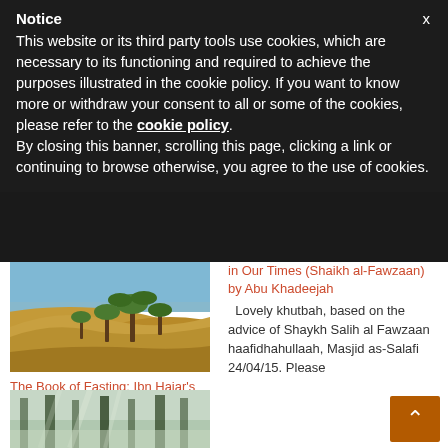Notice
This website or its third party tools use cookies, which are necessary to its functioning and required to achieve the purposes illustrated in the cookie policy. If you want to know more or withdraw your consent to all or some of the cookies, please refer to the cookie policy. By closing this banner, scrolling this page, clicking a link or continuing to browse otherwise, you agree to the use of cookies.
[Figure (photo): Desert landscape with sand dunes and palm trees under blue sky]
The Book of Fasting: Ibn Hajar's Buloogh al-Maraam by Abu Khadeejah (Explanation of Al-Fawzaan)
in Our Times (Shaikh al-Fawzaan) by Abu Khadeejah
Lovely khutbah, based on the advice of Shaykh Salih al Fawzaan haafidhahullaah, Masjid as-Salafi 24/04/15. Please
[Figure (photo): Misty forest with tall trees and light filtering through]